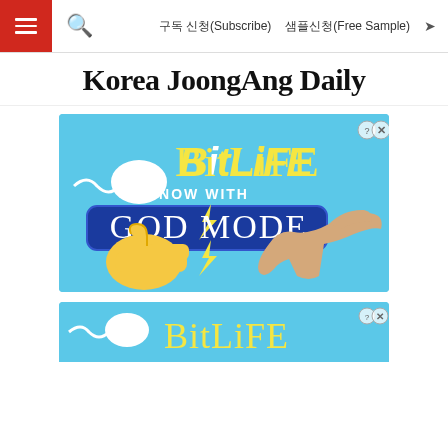구독 신청(Subscribe)   샘플신청(Free Sample)
Korea JoongAng Daily
[Figure (illustration): BitLife app advertisement on light blue background featuring sperm cell graphic, 'BitLife' yellow text logo, 'NOW WITH GOD MODE' text on blue rounded rectangle, lightning bolts, thumbs-up emoji hand and reaching hand illustration. Close/question mark buttons in top right.]
[Figure (illustration): Second BitLife advertisement (partially visible) — same light blue background with sperm cell graphic and BitLife yellow text logo. Close/question mark buttons in top right.]